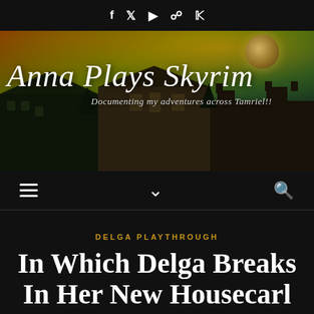f  t  ▶  ⊕  P
[Figure (illustration): Anna Plays Skyrim blog banner — dark fantasy landscape with aurora borealis sky, glowing planet/moon, stone buildings silhouette. Large cursive text 'Anna Plays Skyrim' with subtitle 'Documenting my adventures across Tamriel!!']
≡  ∨  🔍
DELGA PLAYTHROUGH
In Which Delga Breaks In Her New Housecarl